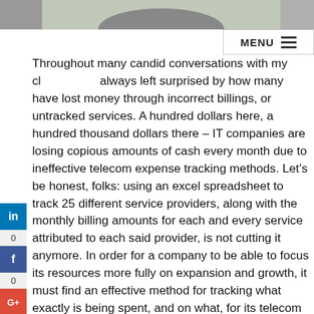[Figure (photo): Top portion of a photo showing a person, cropped at top of page]
Throughout many candid conversations with my cl... always left surprised by how many have lost money through incorrect billings, or untracked services. A hundred dollars here, a hundred thousand dollars there – IT companies are losing copious amounts of cash every month due to ineffective telecom expense tracking methods. Let's be honest, folks: using an excel spreadsheet to track 25 different service providers, along with the monthly billing amounts for each and every service attributed to each said provider, is not cutting it anymore. In order for a company to be able to focus its resources more fully on expansion and growth, it must find an effective method for tracking what exactly is being spent, and on what, for its telecom services.
Telecom Expense Management, or TEM, tools alleviate the hassle and lost cash flow that comes along with having far too many bills to track and an inadequate system with which to track them. TEM tools allow clients to have one centralized inventory management system to track all of their telecom expenses – mobile bills, data center bills, network connectivity bills, and so on. TEM solutions offer clients a unique window of visibility into where, exactly, their money is going – clients are more easily able to pinpoint